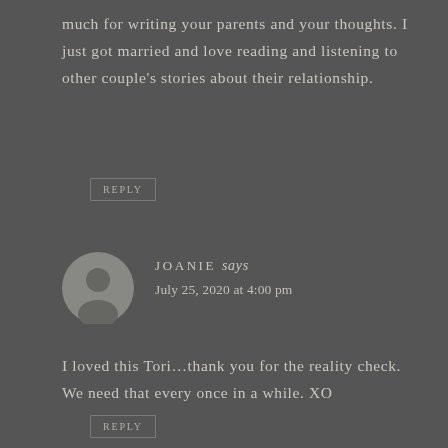much for writing your parents and your thoughts. I just got married and love reading and listening to other couple's stories about their relationship.
REPLY
JOANIE says
July 25, 2020 at 4:00 pm
I loved this Tori…thank you for the reality check. We need that every once in a while. XO
REPLY